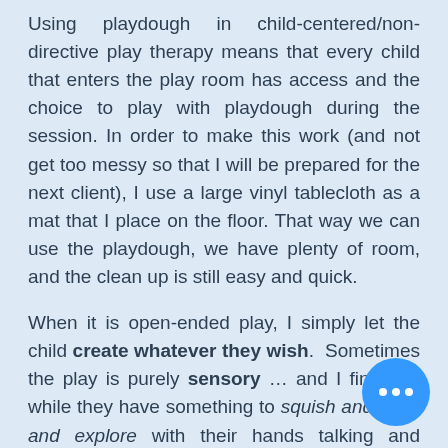Using playdough in child-centered/non-directive play therapy means that every child that enters the play room has access and the choice to play with playdough during the session.  In order to make this work (and not get too messy so that I will be prepared for the next client), I use a large vinyl tablecloth as a mat that I place on the floor.  That way we can use the playdough, we have plenty of room, and the clean up is still easy and quick.
When it is open-ended play, I simply let the child create whatever they wish.  Sometimes the play is purely sensory … and I find that while they have something to squish and mold and explore with their hands talking and sharing difficult things can be easier.  (this is true for clients
[Figure (other): Blue circular button with three white dots (ellipsis/more options button) in the bottom right corner]